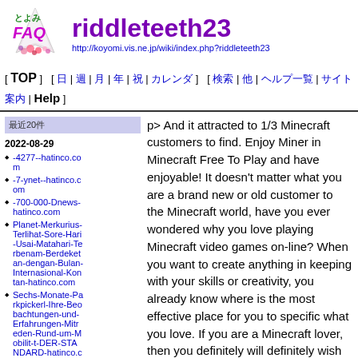riddleteeth23 — http://koyomi.vis.ne.jp/wiki/index.php?riddleteeth23
[ TOP ] [ 日 | 週 | 月 | 年 | 祝 | カレンダ ] [ 検索 | 他 | ヘルプ一覧 | サイト案内 | Help ]
最近20件
2022-08-29
-4277--hatinco.com
-7-ynet--hatinco.com
-700-000-Dnews-hatinco.com
Planet-Merkurius-Terlihat-Sore-Hari-Usai-Matahari-Terbenam-Berdekatan-dengan-Bulan-Internasional-Kontan-hatinco.com
Sechs-Monate-Parkpickerl-Ihre-Beobachtungen-und-Erfahrungen-Mitreden-Rund-um-Mobilit-t-DER-STANDARD-hatinco.com
Samsung-Galaxy-
p> And it attracted to 1/3 Minecraft customers to find. Enjoy Miner in Minecraft Free To Play and have enjoyable! It doesn't matter what you are a brand new or old customer to the Minecraft world, have you ever wondered why you love playing Minecraft video games on-line? When you want to create anything in keeping with your skills or creativity, you already know where is the most effective place for you to specific what you love. If you are a Minecraft lover, then you definitely will definitely wish to get pleasure from the best game possible. The Minecraft server that you select performs a major position with the best sort of expertise you have got